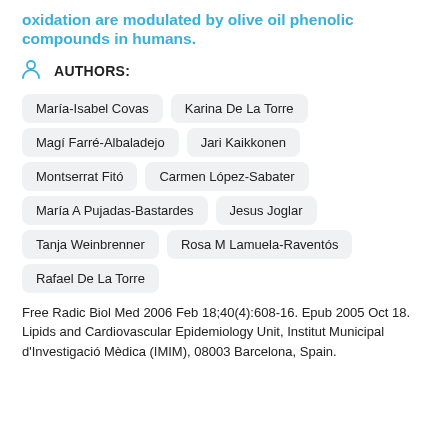oxidation are modulated by olive oil phenolic compounds in humans.
AUTHORS:
María-Isabel Covas
Karina De La Torre
Magí Farré-Albaladejo
Jari Kaikkonen
Montserrat Fitó
Carmen López-Sabater
María A Pujadas-Bastardes
Jesus Joglar
Tanja Weinbrenner
Rosa M Lamuela-Raventós
Rafael De La Torre
Free Radic Biol Med 2006 Feb 18;40(4):608-16. Epub 2005 Oct 18.
Lipids and Cardiovascular Epidemiology Unit, Institut Municipal d'Investigació Mèdica (IMIM), 08003 Barcelona, Spain.